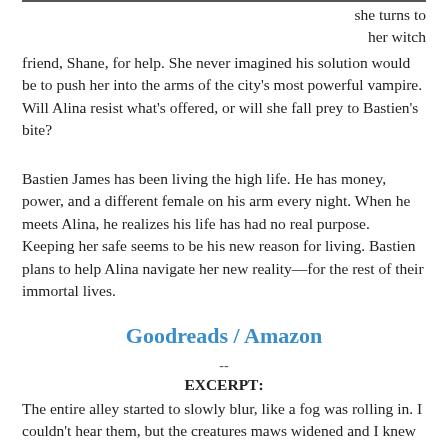she turns to her witch friend, Shane, for help. She never imagined his solution would be to push her into the arms of the city's most powerful vampire. Will Alina resist what's offered, or will she fall prey to Bastien's bite?
Bastien James has been living the high life. He has money, power, and a different female on his arm every night. When he meets Alina, he realizes his life has had no real purpose. Keeping her safe seems to be his new reason for living. Bastien plans to help Alina navigate her new reality—for the rest of their immortal lives.
Goodreads / Amazon
--
EXCERPT:
The entire alley started to slowly blur, like a fog was rolling in. I couldn't hear them, but the creatures maws widened and I knew they were making that horrible screech I'd only heard once.
Suddenly they were gone and I exhaled in relief. A minute later, all thee fighters were walking into the room, looking no worse for wear.
Aside from Shane's torn charcoal shirt, none of them had a mark on